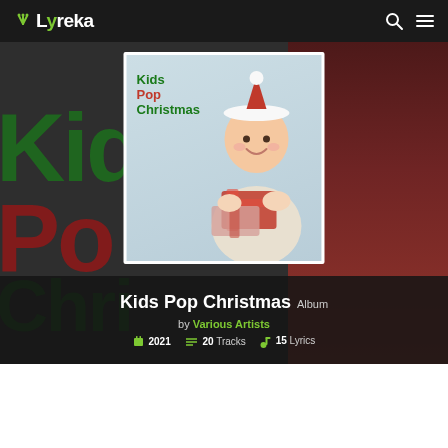Lyreka
[Figure (screenshot): Lyreka website screenshot showing Kids Pop Christmas album page. Hero section with dark background, large background text 'Kids Pop Christmas' in green and red, album cover image of child in Santa hat holding gifts, album title 'Kids Pop Christmas Album by Various Artists', and metadata showing 2021, 20 Tracks, 15 Lyrics.]
Kids Pop Christmas Album
by Various Artists
2021  20 Tracks  15 Lyrics